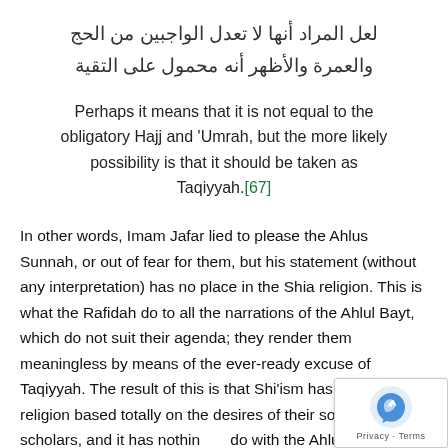لعل المراد أنها لا تعدل الواجبين من الحج والعمرة والأظهر أنه محمول على التقية
Perhaps it means that it is not equal to the obligatory Hajj and 'Umrah, but the more likely possibility is that it should be taken as Taqiyyah.[67]
In other words, Imam Jafar lied to please the Ahlus Sunnah, or out of fear for them, but his statement (without any interpretation) has no place in the Shia religion. This is what the Rafidah do to all the narrations of the Ahlul Bayt, which do not suit their agenda; they render them meaningless by means of the ever-ready excuse of Taqiyyah. The result of this is that Shi'ism has turned into a religion based totally on the desires of their so-called scholars, and it has nothing to do with the Ahlul Bayt.